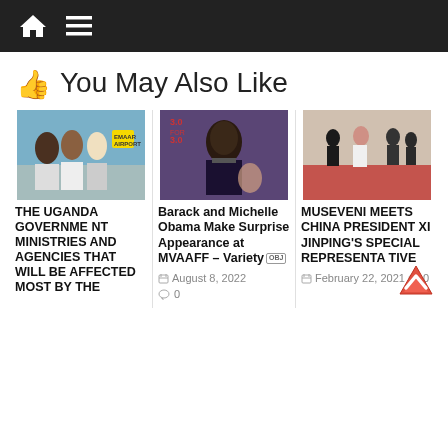Navigation bar with home and menu icons
👍 You May Also Like
[Figure (photo): People at an airport or checkpoint, one person holding a yellow sign, others wearing masks]
THE UGANDA GOVERNMENT MINISTRIES AND AGENCIES THAT WILL BE AFFECTED MOST BY THE
[Figure (photo): Barack Obama speaking at a podium with a woman behind him]
Barack and Michelle Obama Make Surprise Appearance at MVAAFF – Variety [OBJ]
August 8, 2022
0
[Figure (photo): Several people walking, some in formal attire and one in a white protective suit, on a red carpet]
MUSEVENI MEETS CHINA PRESIDENT XI JINPING'S SPECIAL REPRESENTATIVE
February 22, 2021
0